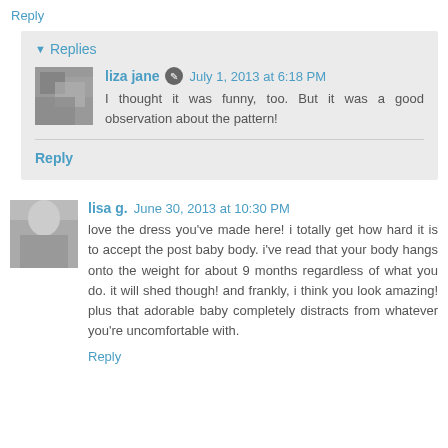Reply
▼ Replies
liza jane · July 1, 2013 at 6:18 PM
I thought it was funny, too. But it was a good observation about the pattern!
Reply
lisa g. June 30, 2013 at 10:30 PM
love the dress you've made here! i totally get how hard it is to accept the post baby body. i've read that your body hangs onto the weight for about 9 months regardless of what you do. it will shed though! and frankly, i think you look amazing! plus that adorable baby completely distracts from whatever you're uncomfortable with.
Reply